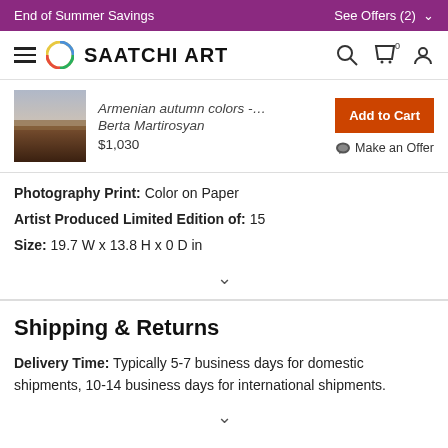End of Summer Savings | See Offers (2)
[Figure (logo): Saatchi Art logo with circular multicolor ring icon and bold text SAATCHI ART]
[Figure (photo): Thumbnail of Armenian autumn colors landscape photograph by Berta Martirosyan]
Armenian autumn colors -… Berta Martirosyan $1,030
Add to Cart
Make an Offer
Photography Print: Color on Paper
Artist Produced Limited Edition of: 15
Size: 19.7 W x 13.8 H x 0 D in
Shipping & Returns
Delivery Time: Typically 5-7 business days for domestic shipments, 10-14 business days for international shipments.